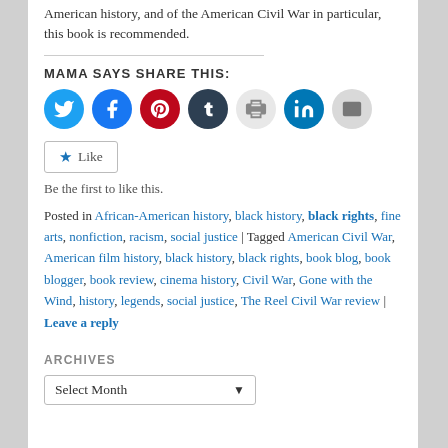American history, and of the American Civil War in particular, this book is recommended.
MAMA SAYS SHARE THIS:
[Figure (other): Row of social share icon buttons: Twitter (blue), Facebook (blue), Pinterest (red), Tumblr (dark navy), Print (light gray), LinkedIn (teal), Email (light gray)]
Like / Be the first to like this.
Posted in African-American history, black history, black rights, fine arts, nonfiction, racism, social justice | Tagged American Civil War, American film history, black history, black rights, book blog, book blogger, book review, cinema history, Civil War, Gone with the Wind, history, legends, social justice, The Reel Civil War review | Leave a reply
ARCHIVES
Select Month